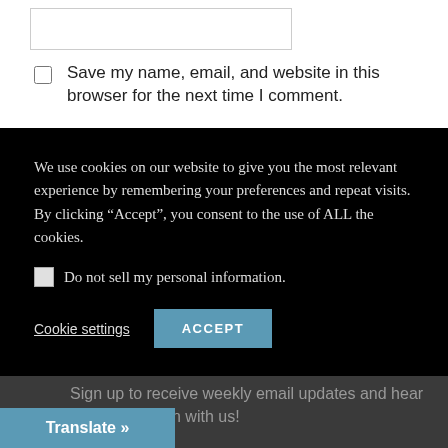[Figure (screenshot): A text input box (form field) with a thin border, partially visible at the top of the page.]
Save my name, email, and website in this browser for the next time I comment.
We use cookies on our website to give you the most relevant experience by remembering your preferences and repeat visits. By clicking “Accept”, you consent to the use of ALL the cookies.
Do not sell my personal information.
Cookie settings   ACCEPT
E-MAIL NEWSLETTER
Sign up to receive weekly email updates and hear what’s going on with us!
Translate »